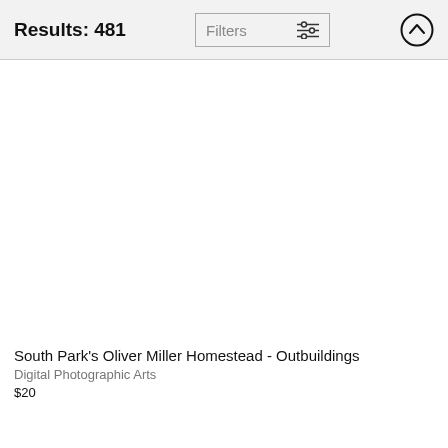Results: 481
Filters
[Figure (screenshot): Large white empty image area (product image placeholder)]
South Park's Oliver Miller Homestead - Outbuildings
Digital Photographic Arts
$20